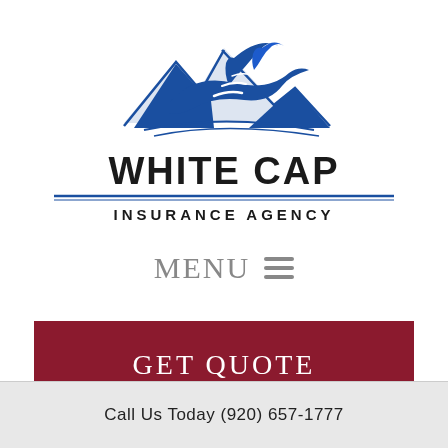[Figure (logo): White Cap Insurance Agency logo — blue ocean wave cresting over mountain shapes, inline SVG illustration]
WHITE CAP
INSURANCE AGENCY
MENU ☰
GET QUOTE
Call Us Today (920) 657-1777